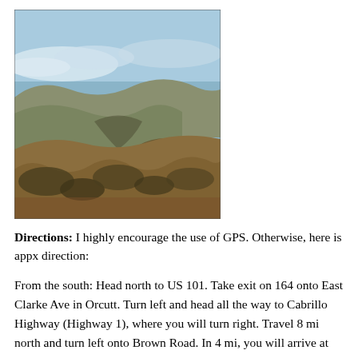[Figure (photo): Landscape photo showing rolling hills covered with dry brown grass and shrubby vegetation in the foreground, a valley in the middle ground, and a pale blue sky with low clouds in the background.]
Directions: I highly encourage the use of GPS. Otherwise, here is appx direction:
From the south: Head north to US 101. Take exit on 164 onto East Clarke Ave in Orcutt. Turn left and head all the way to Cabrillo Highway (Highway 1), where you will turn right. Travel 8 mi north and turn left onto Brown Road. In 4 mi, you will arrive at your destination.